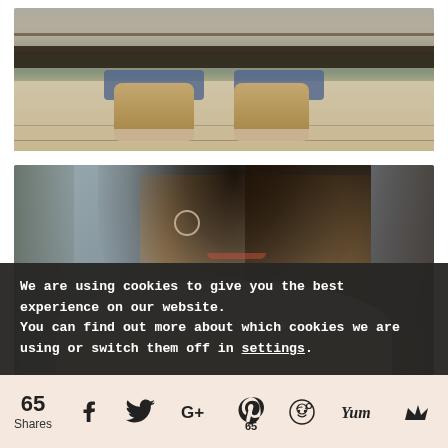[Figure (photo): Partial view of woman's legs/feet wearing wedge sandals and jeans on a wooden platform]
[Figure (photo): Portrait photo of a young Asian woman with long dark hair, wearing a gray star-print top and hoop earrings, looking down and smiling]
We are using cookies to give you the best experience on our website.
You can find out more about which cookies we are using or switch them off in settings.
65
Shares